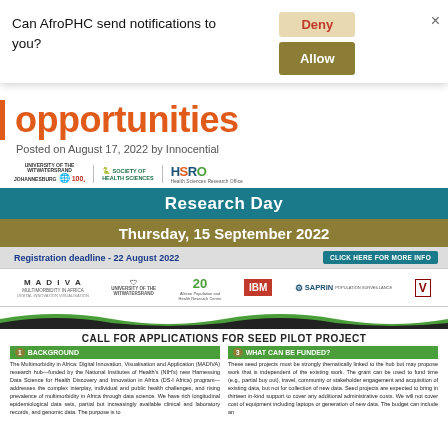Can AfroPHC send notifications to you?
opportunities
Posted on August 17, 2022 by Innocential
[Figure (infographic): Research Day event banner with logos for University of Witwatersrand, Society of Health Sciences, and HSRO. Banner reads: Research Day, Thursday, 15 September 2022, Registration deadline - 22 August 2022. Partner logos include MADIVA, IBM, SAPRIN, and Vanderbilt Medical Center.]
BACKGROUND
The Multimorbidity in Africa: Digital Innovation, Visualisation and Application (MADIVA) research hub—funded by the National Institutes of Health's (NIH's) new Harnessing Data Science for Health Discovery and Innovation in Africa (DS-I Africa) program—addresses the complex interplay, individual and public health challenges, and rising prevalence of multimorbidity in Africa through data science. We have rich longitudinal epidemiological data sets, partial but increasingly available clinical and laboratory records, and genomic data. The purpose is to
WHAT CAN BE FUNDED?
These seed projects must be strongly thematically linked to the hub but may propose work that is independent of the existing work. The grant can be used to fund time (e.g., partial buy out), travel, community or stakeholder engagement and acquisition of existing data, but not for collection of new data. Seed projects are expected to bring in thirteen in-kind support to cover any additional administrative costs. We will not cover cost of equipment including laptops or generation of new data. The budget can include an